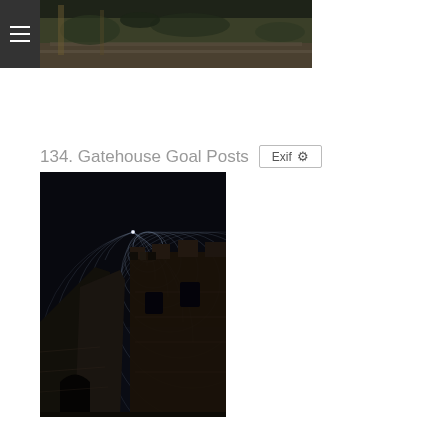[Figure (photo): Top banner photo: outdoor scene with stone wall, overgrown vegetation, dark moody tones]
134. Gatehouse Goal Posts
[Figure (photo): Night long-exposure photo of a ruined stone gatehouse/castle tower with circular star trails in the sky above]